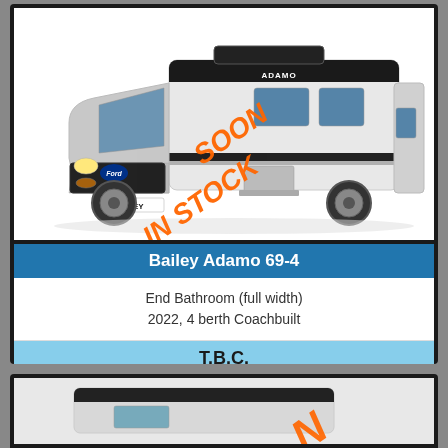[Figure (photo): Bailey Adamo 69-4 motorhome, white coachbuilt, Ford Transit base, with orange diagonal watermark text IN STOCK SOON]
Bailey Adamo 69-4
End Bathroom (full width)
2022, 4 berth Coachbuilt
T.B.C.
Matching layout and berths
[Figure (photo): Second motorhome listing partially visible at bottom, white vehicle with orange watermark text partially visible]